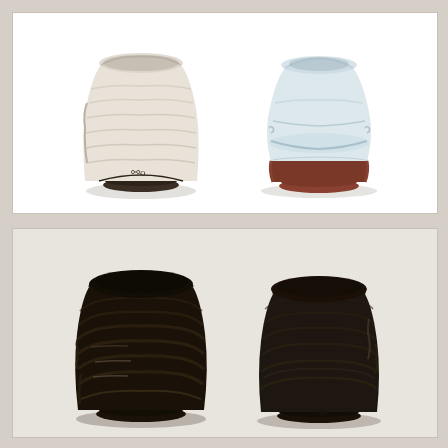[Figure (photo): Two white/light-glazed ceramic tea bowls (chawan) side by side on white background. Left bowl has textured horizontal ridges with a maker's mark stamp at bottom. Right bowl has a bulging pinched form with pale blue-white glaze and terracotta showing at base.]
[Figure (photo): Two dark black-glazed ceramic tea bowls (chawan) side by side on light background. Both have heavily textured, crinkled surfaces with a shiny black tenmoku-style glaze. Left bowl is rounder and more deeply ridged; right bowl is slightly squarer with finger-pressed texture marks.]